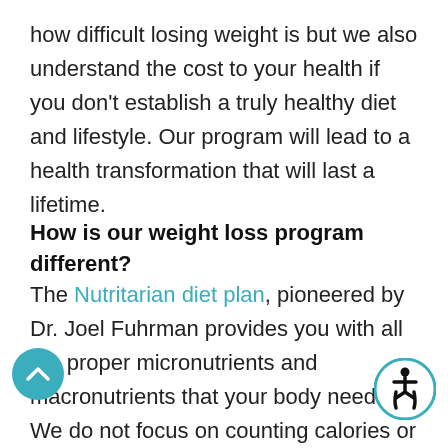how difficult losing weight is but we also understand the cost to your health if you don't establish a truly healthy diet and lifestyle. Our program will lead to a health transformation that will last a lifetime.
How is our weight loss program different?
The Nutritarian diet plan, pioneered by Dr. Joel Fuhrman provides you with all the proper micronutrients and macronutrients that your body needs. We do not focus on counting calories or depriving you of calories. Instead, we focus on eating nutrient dense foods which will allow for sustained weight loss. This will also greatly impro...